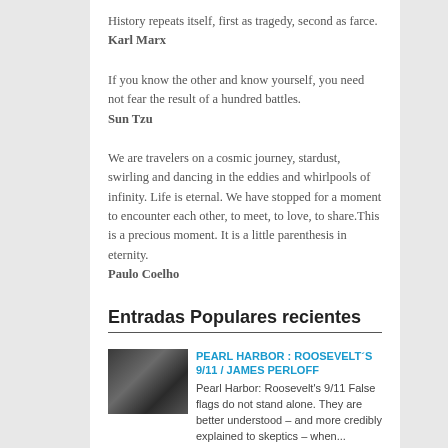History repeats itself, first as tragedy, second as farce.
Karl Marx
If you know the other and know yourself, you need not fear the result of a hundred battles.
Sun Tzu
We are travelers on a cosmic journey, stardust, swirling and dancing in the eddies and whirlpools of infinity. Life is eternal. We have stopped for a moment to encounter each other, to meet, to love, to share.This is a precious moment. It is a little parenthesis in eternity.
Paulo Coelho
Entradas Populares recientes
[Figure (photo): Black and white photo of two people in military uniforms]
PEARL HARBOR : ROOSEVELT'S 9/11 / JAMES PERLOFF
Pearl Harbor: Roosevelt's 9/11 False flags do not stand alone. They are better understood – and more credibly explained to skeptics – when...
[Figure (photo): Photo of a round wooden structure or building]
WHERE WILL GERMANY GET ITS ENERGY IN THE FUTURE? / DER SPIEGEL